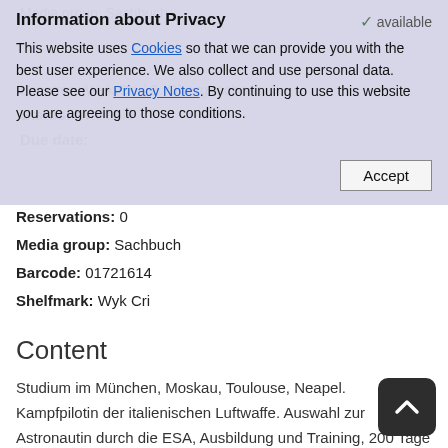Media group: Sachbuch (faded, behind overlay)
Information about Privacy
This website uses Cookies so that we can provide you with the best user experience. We also collect and use personal data. Please see our Privacy Notes. By continuing to use this website you are agreeing to those conditions.
Location: Wyk Cri / 2. Obergeschoss (faded)
Status: available (faded)
Due date: (faded)
Reservations: 0
Media group: Sachbuch
Barcode: 01721614
Shelfmark: Wyk Cri
Content
Studium im München, Moskau, Toulouse, Neapel. Kampfpilotin der italienischen Luftwaffe. Auswahl zur Astronautin durch die ESA, Ausbildung und Training, 200 Tage auf der ISS, Rekordhalterin für Langzeitflüge von Frauen im Weltall. Eindrucksvolle Biografie, sachlich, auch persönlich, engagiert.